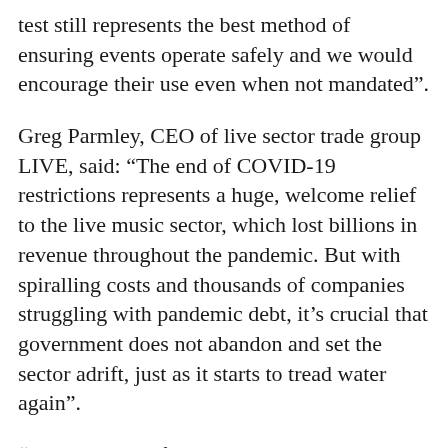test still represents the best method of ensuring events operate safely and we would encourage their use even when not mandated”.
Greg Parmley, CEO of live sector trade group LIVE, said: “The end of COVID-19 restrictions represents a huge, welcome relief to the live music sector, which lost billions in revenue throughout the pandemic. But with spiralling costs and thousands of companies struggling with pandemic debt, it’s crucial that government does not abandon and set the sector adrift, just as it starts to tread water again”.
“We are calling for a reverse to the planned hike in VAT rates and the imminent end to business rates relief in order to avoid further business closures and job losses within our sector”, he added.
And Paul Reed, CEO of the Association Of Independent Festivals, said: “While we welcome the…